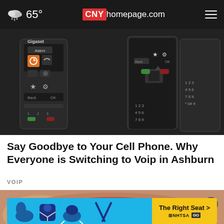CNYhomepage.com — 65°
[Figure (photo): Multiple Gigaset cordless/VoIP desk phones arranged together, showing keypads and displays, dark background]
Say Goodbye to Your Cell Phone. Why Everyone is Switching to Voip in Ashburn
VOIP
[Figure (photo): Close-up of a person's lower face and fingers near lips]
[Figure (infographic): NHTSA advertisement banner: The Right Seat > with car seat safety icons on blue background]